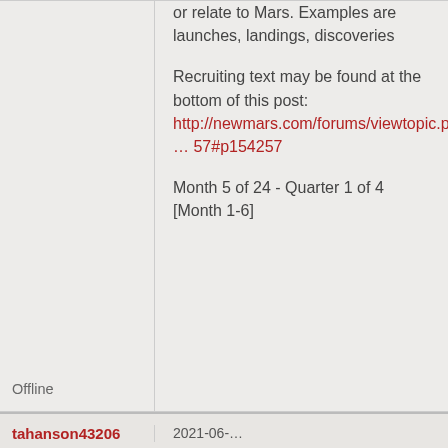or relate to Mars. Examples are launches, landings, discoveries
Recruiting text may be found at the bottom of this post: http://newmars.com/forums/viewtopic.php … 57#p154257
Month 5 of 24 - Quarter 1 of 4 [Month 1-6]
Offline
tahanson43206
2021-06-...